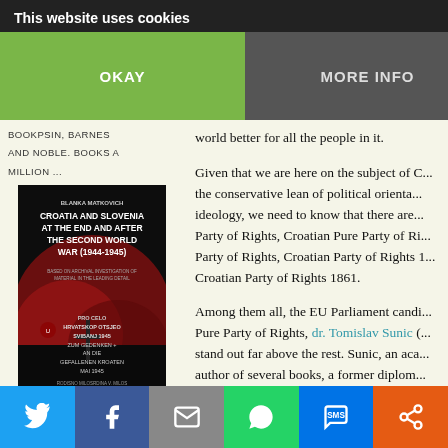This website uses cookies
OKAY | MORE INFO
BOOKPSIN, BARNES AND NOBLE. BOOKS A MILLION ...
[Figure (photo): Book cover: Croatia and Slovenia at the End and After the Second World War (1944-1945) by Blanka Matkovich, showing a dark red and black WWII memorial scene]
LIVING CELLS – JULIENNE EDEN BUSIC
them to stop them from thieving the Cro... the wrong attitude to harbour and certa... at of wanted results. The right attitu... w be: here we are in the EU, let's all j... world better for all the people in it.
Given that we are here on the subject of C... the conservative lean of political orienta... ideology, we need to know that there are... Party of Rights, Croatian Pure Party of Ri... Party of Rights, Croatian Party of Rights 1... Croatian Party of Rights 1861.
Among them all, the EU Parliament candi... Pure Party of Rights, dr. Tomislav Sunic (... stand out far above the rest. Sunic, an aca... author of several books, a former diplom... New Right movement, is in no way super... seems to be) when it comes to national id...
[Figure (screenshot): Social sharing bar with Twitter, Facebook, Email, WhatsApp, SMS, and more buttons]